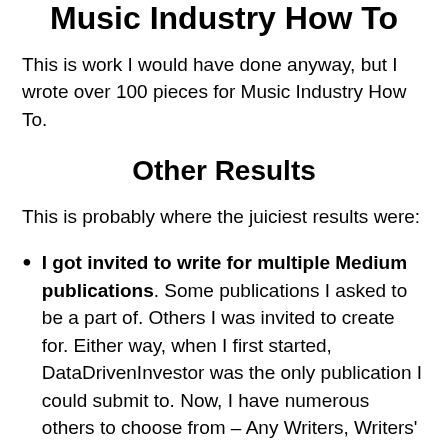Music Industry How To
This is work I would have done anyway, but I wrote over 100 pieces for Music Industry How To.
Other Results
This is probably where the juiciest results were:
I got invited to write for multiple Medium publications. Some publications I asked to be a part of. Others I was invited to create for. Either way, when I first started, DataDrivenInvestor was the only publication I could submit to. Now, I have numerous others to choose from – Any Writers, Writers' Blokke, ILLUMINATION,